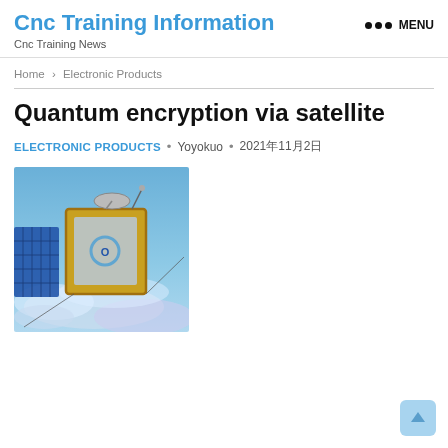Cnc Training Information
Cnc Training News
MENU
Home > Electronic Products
Quantum encryption via satellite
ELECTRONIC PRODUCTS • Yoyokuo • 2021年11月2日
[Figure (photo): Satellite spacecraft with gold foil frame and solar panel arrays floating above Earth's cloud cover, depicting a quantum encryption satellite in orbit.]